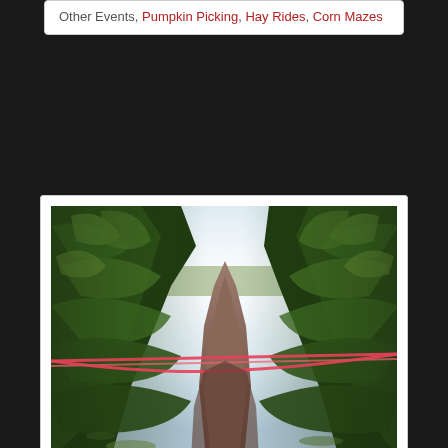Other Events, Pumpkin Picking, Hay Rides, Corn Mazes
[Figure (photo): A path through a corn maze with tall green corn stalks on both sides. A pink/red ribbon or tape is stretched across the path. The sky is visible and bright in the background through the opening of the corn rows.]